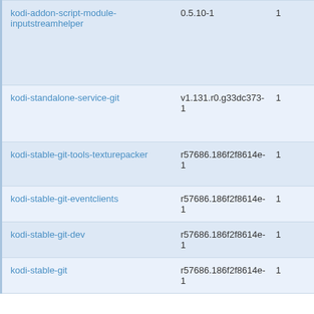| Name | Version |  |
| --- | --- | --- |
| kodi-addon-script-module-inputstreamhelper | 0.5.10-1 | 1 |
| kodi-standalone-service-git | v1.131.r0.g33dc373-1 | 1 |
| kodi-stable-git-tools-texturepacker | r57686.186f2f8614e-1 | 1 |
| kodi-stable-git-eventclients | r57686.186f2f8614e-1 | 1 |
| kodi-stable-git-dev | r57686.186f2f8614e-1 | 1 |
| kodi-stable-git | r57686.186f2f8614e-1 | 1 |